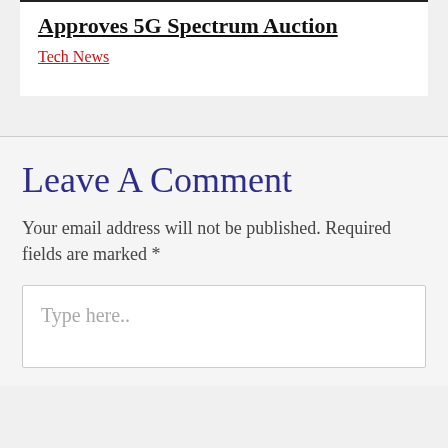Approves 5G Spectrum Auction
Tech News
Leave A Comment
Your email address will not be published. Required fields are marked *
Type here..